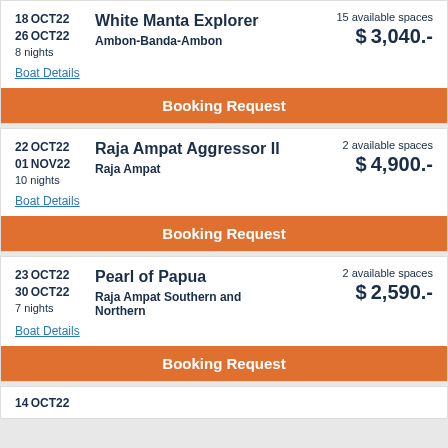18 OCT 22
26 OCT 22
8 nights
White Manta Explorer
Ambon-Banda-Ambon
15 available spaces
$3,040.-
Boat Details
Booking Request
22 OCT 22
01 NOV 22
10 nights
Raja Ampat Aggressor II
Raja Ampat
2 available spaces
$4,900.-
Boat Details
Booking Request
23 OCT 22
30 OCT 22
7 nights
Pearl of Papua
Raja Ampat Southern and Northern
2 available spaces
$2,590.-
Boat Details
Booking Request
14 OCT 22